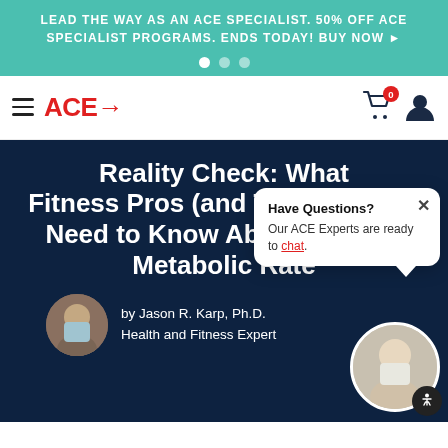LEAD THE WAY AS AN ACE SPECIALIST. 50% OFF ACE SPECIALIST PROGRAMS. ENDS TODAY! BUY NOW ▶
[Figure (logo): ACE logo with arrow and navigation icons including hamburger menu, shopping cart with badge 0, and user icon]
Reality Check: What Fitness Pros (and Their Clients) Need to Know About Resting Metabolic Rate
by Jason R. Karp, Ph.D.
Health and Fitness Expert
[Figure (photo): Circular portrait photo of Jason R. Karp, the author]
[Figure (photo): Circular portrait photo of an ACE Expert for the chat popup]
Have Questions?
Our ACE Experts are ready to chat.